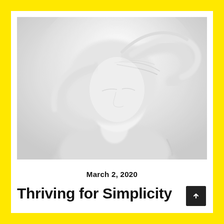[Figure (photo): Faded, high-key photograph of a young woman with windswept light hair, looking upward, wearing a light jacket, shot against a light grey background]
March 2, 2020
Thriving for Simplicity